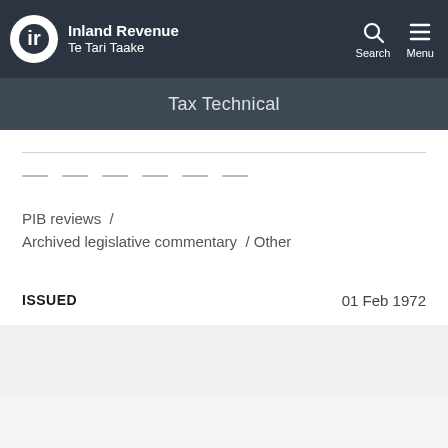Inland Revenue Te Tari Taake
Tax Technical
PIB reviews / Archived legislative commentary / Other
ISSUED   01 Feb 1972